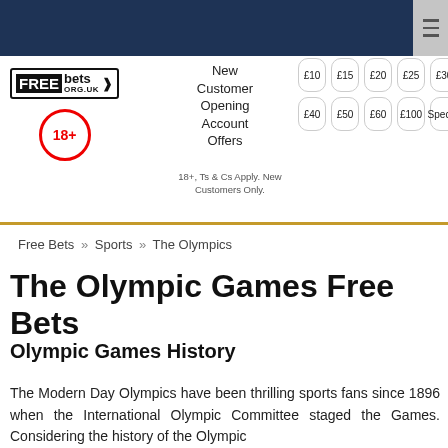[Figure (logo): FreeBets.org.uk logo with black FREE box and arrow, plus 18+ circle badge]
New Customer Opening Account Offers
18+, Ts & Cs Apply. New Customers Only.
£10  £15  £20  £25  £30  £40  £50  £60  £100  Special
Free Bets » Sports » The Olympics
The Olympic Games Free Bets
Olympic Games History
The Modern Day Olympics have been thrilling sports fans since 1896 when the International Olympic Committee staged the Games. Considering the history of the Olympic